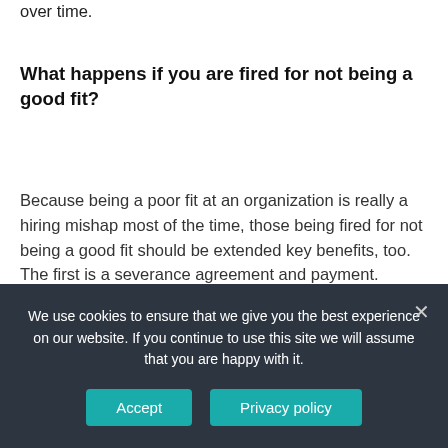over time.
What happens if you are fired for not being a good fit?
Because being a poor fit at an organization is really a hiring mishap most of the time, those being fired for not being a good fit should be extended key benefits, too. The first is a severance agreement and payment.
How did I get fired from my
We use cookies to ensure that we give you the best experience on our website. If you continue to use this site we will assume that you are happy with it.